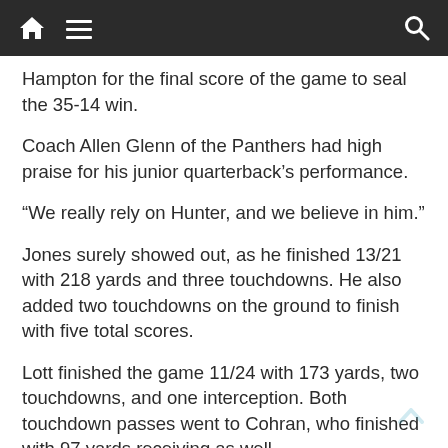Navigation bar with home, menu, and search icons
Hampton for the final score of the game to seal the 35-14 win.
Coach Allen Glenn of the Panthers had high praise for his junior quarterback's performance.
“We really rely on Hunter, and we believe in him.”
Jones surely showed out, as he finished 13/21 with 218 yards and three touchdowns. He also added two touchdowns on the ground to finish with five total scores.
Lott finished the game 11/24 with 173 yards, two touchdowns, and one interception. Both touchdown passes went to Cohran, who finished with 97 yards receiving as well.